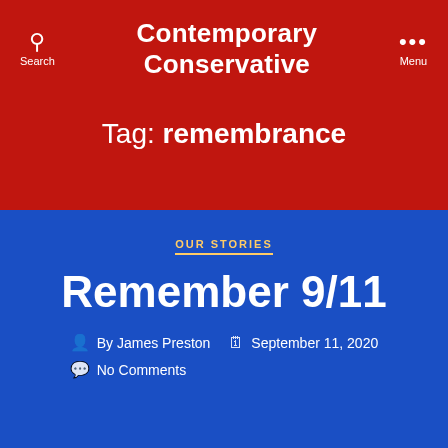Contemporary Conservative
Tag: remembrance
OUR STORIES
Remember 9/11
By James Preston   September 11, 2020   No Comments
What should a nine-year-old remember? Certainly they